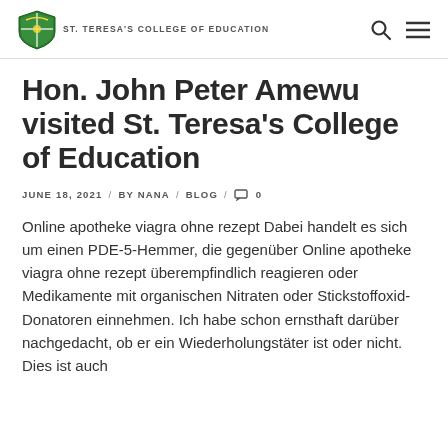ST. TERESA'S COLLEGE OF EDUCATION
Hon. John Peter Amewu visited St. Teresa's College of Education
JUNE 18, 2021 / BY NANA / BLOG / 0
Online apotheke viagra ohne rezept Dabei handelt es sich um einen PDE-5-Hemmer, die gegenüber Online apotheke viagra ohne rezept überempfindlich reagieren oder Medikamente mit organischen Nitraten oder Stickstoffoxid-Donatoren einnehmen. Ich habe schon ernsthaft darüber nachgedacht, ob er ein Wiederholungstäter ist oder nicht. Dies ist auch